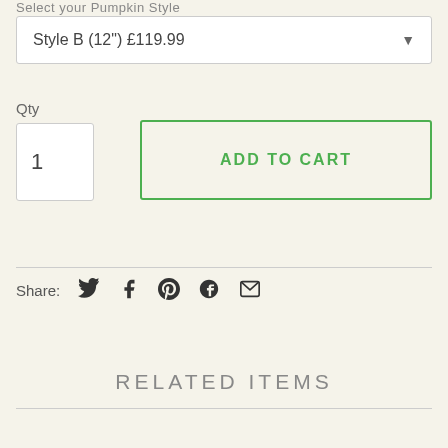Select your Pumpkin Style
Style B (12") £119.99
Qty
1
ADD TO CART
Share:
RELATED ITEMS